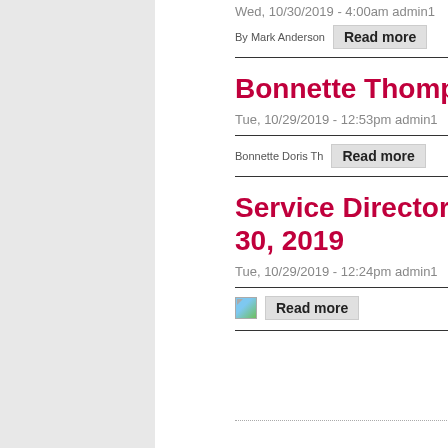Wed, 10/30/2019 - 4:00am admin1
By Mark Anderson  Read more
Bonnette Thompson
Tue, 10/29/2019 - 12:53pm admin1
Bonnette Doris Th  Read more
Service Directory October 30, 2019
Tue, 10/29/2019 - 12:24pm admin1
Read more
« first  ‹ previous  1  2  3  4  5  6  7  8  9